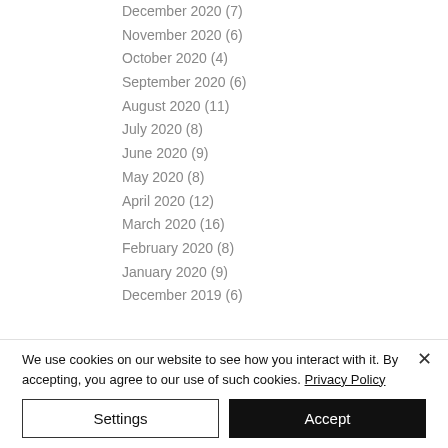December 2020 (7)
November 2020 (6)
October 2020 (4)
September 2020 (6)
August 2020 (11)
July 2020 (8)
June 2020 (9)
May 2020 (8)
April 2020 (12)
March 2020 (16)
February 2020 (8)
January 2020 (9)
December 2019 (6)
We use cookies on our website to see how you interact with it. By accepting, you agree to our use of such cookies. Privacy Policy